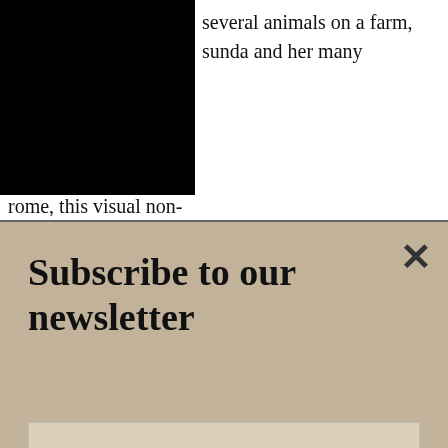[Figure (photo): Black redacted rectangle covering upper-left portion of page]
several animals on a farm, sunda and her many
rome, this visual non-
Subscribe to our newsletter
Your e-mail address    SIGN UP
from the Russian filmmaker Viktor Kosakovskiy.
[Figure (photo): Partial photo strip background, dark tones]
Save Up to 65% Leesburg Premium Outlets